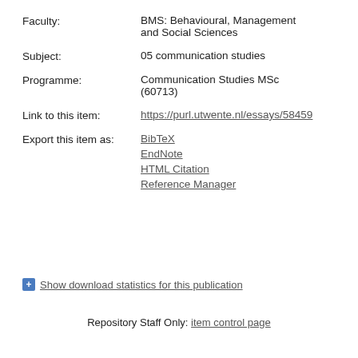Faculty: BMS: Behavioural, Management and Social Sciences
Subject: 05 communication studies
Programme: Communication Studies MSc (60713)
Link to this item: https://purl.utwente.nl/essays/58459
Export this item as: BibTeX, EndNote, HTML Citation, Reference Manager
Show download statistics for this publication
Repository Staff Only: item control page